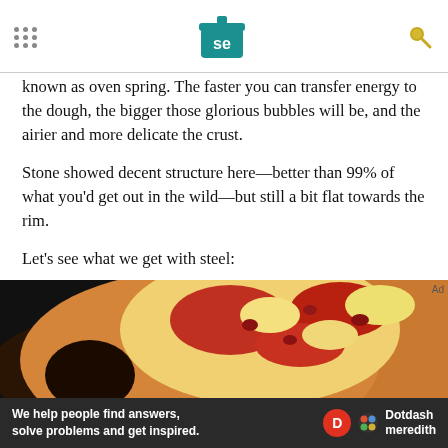Serious Eats logo header with navigation dots and search icon
known as oven spring. The faster you can transfer energy to the dough, the bigger those glorious bubbles will be, and the airier and more delicate the crust.
Stone showed decent structure here—better than 99% of what you'd get out in the wild—but still a bit flat towards the rim.
Let's see what we get with steel:
[Figure (photo): Close-up photo of a pizza with tomato sauce and cheese toppings, partially shown, on a dark background]
We help people find answers, solve problems and get inspired. Dotdash meredith